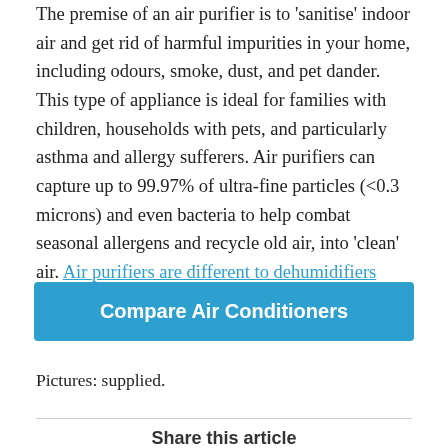The premise of an air purifier is to 'sanitise' indoor air and get rid of harmful impurities in your home, including odours, smoke, dust, and pet dander. This type of appliance is ideal for families with children, households with pets, and particularly asthma and allergy sufferers. Air purifiers can capture up to 99.97% of ultra-fine particles (<0.3 microns) and even bacteria to help combat seasonal allergens and recycle old air, into 'clean' air. Air purifiers are different to dehumidifiers which only remove moisture from the air.
[Figure (other): Blue CTA button labeled 'Compare Air Conditioners']
Pictures: supplied.
Share this article